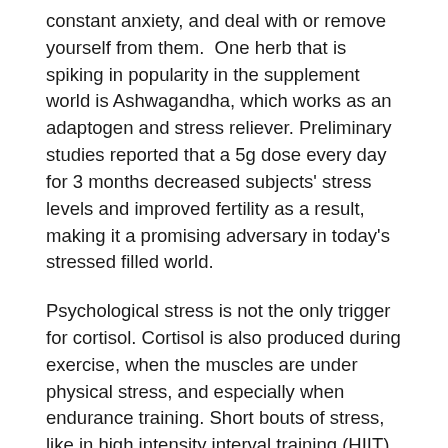constant anxiety, and deal with or remove yourself from them.  One herb that is spiking in popularity in the supplement world is Ashwagandha, which works as an adaptogen and stress reliever. Preliminary studies reported that a 5g dose every day for 3 months decreased subjects' stress levels and improved fertility as a result, making it a promising adversary in today's stressed filled world.
Psychological stress is not the only trigger for cortisol. Cortisol is also produced during exercise, when the muscles are under physical stress, and especially when endurance training. Short bouts of stress, like in high intensity interval training (HIIT) or weight lifting, is integral to muscle building, but constant, long endurance sessions like for marathon training is when this becomes an issue. The easiest way to avoid adding unnecessary stress to your body while exercising is to allow your body to rest and recover. When